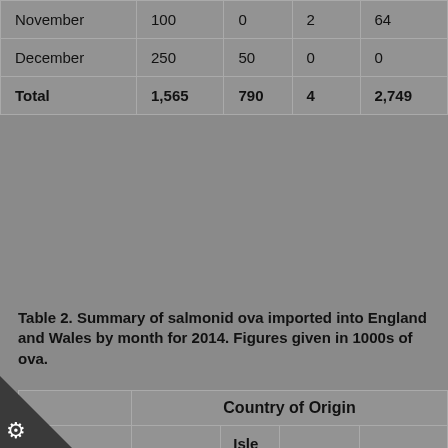|  | Denmark | Isle of Man | Norway | Northern Ireland |
| --- | --- | --- | --- | --- |
| November | 100 | 0 | 2 | 64 |
| December | 250 | 50 | 0 | 0 |
| Total | 1,565 | 790 | 4 | 2,749 |
Table 2. Summary of salmonid ova imported into England and Wales by month for 2014. Figures given in 1000s of ova.
| 2014 | Denmark | Isle of Man | Norway | Northern Ireland |
| --- | --- | --- | --- | --- |
| January | 100 | 90 | 156 | 0 |
| February | 300 | 31.5 | 0 | 0 |